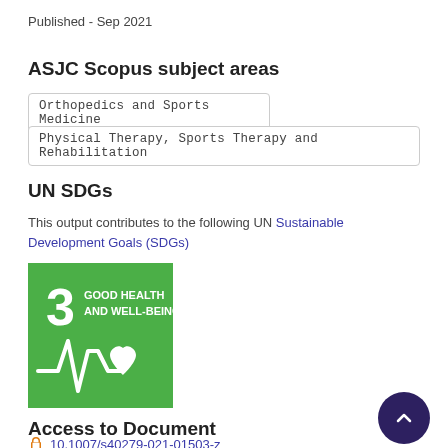Published - Sep 2021
ASJC Scopus subject areas
Orthopedics and Sports Medicine
Physical Therapy, Sports Therapy and Rehabilitation
UN SDGs
This output contributes to the following UN Sustainable Development Goals (SDGs)
[Figure (infographic): UN SDG Goal 3: Good Health and Well-Being icon — green square with white number 3 and text 'GOOD HEALTH AND WELL-BEING' above a heartbeat/pulse line with a heart symbol]
Access to Document
10.1007/s40279-021-01503-z